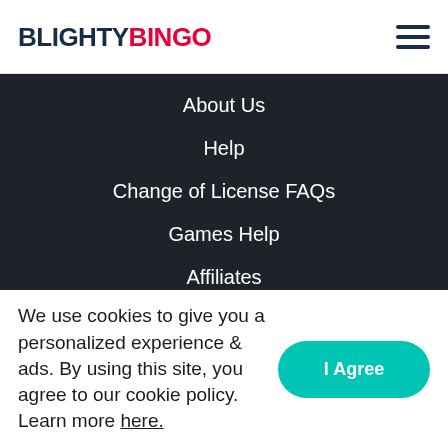BLIGHTYBINGO
About Us
Help
Change of License FAQs
Games Help
Affiliates
Free Bingo
Copyright 2010 – 2022, the Broadway Gaming Group. All rights reserved. Our services facilitated by this website are operated by Grand Battery Holdings Limited, a company incorporated in the Republic of Ireland. Grand Battery Holdings Limited is licensed and regulated in Great Britain.
We use cookies to give you a personalized experience & ads. By using this site, you agree to our cookie policy. Learn more here.